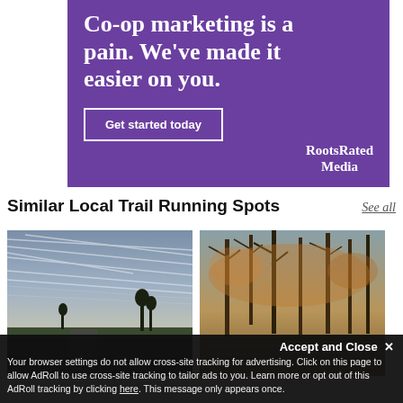[Figure (illustration): Purple advertisement banner for RootsRated Media. White serif bold text reads 'Co-op marketing is a pain. We've made it easier on you.' with a white-bordered button 'Get started today' and the RootsRated Media logo at bottom right.]
Similar Local Trail Running Spots
See all
[Figure (photo): Landscape photo of a flat grassy field at dusk with dramatically streaky cloudy sky and silhouetted trees in the background.]
[Figure (photo): Photo of a rocky forest creek scene in autumn, with bare trees, orange and brown foliage, and large boulders by the water.]
Accept and Close ✕
Your browser settings do not allow cross-site tracking for advertising. Click on this page to allow AdRoll to use cross-site tracking to tailor ads to you. Learn more or opt out of this AdRoll tracking by clicking here. This message only appears once.